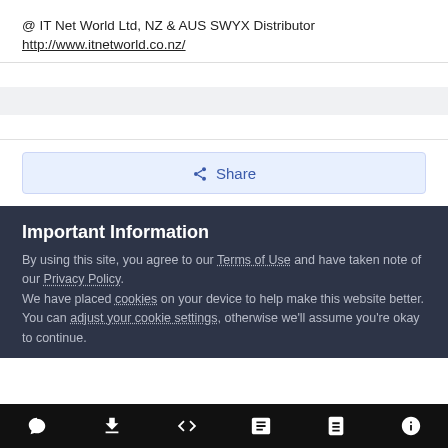@ IT Net World Ltd, NZ & AUS SWYX Distributor
http://www.itnetworld.co.nz/
Share
Important Information
By using this site, you agree to our Terms of Use and have taken note of our Privacy Policy.
We have placed cookies on your device to help make this website better. You can adjust your cookie settings, otherwise we'll assume you're okay to continue.
navigation icons: chat, download, code, news, book, info